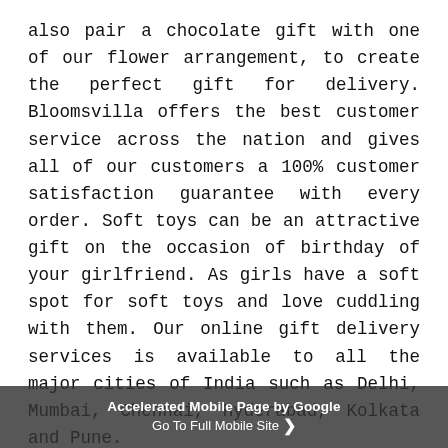also pair a chocolate gift with one of our flower arrangement, to create the perfect gift for delivery. Bloomsvilla offers the best customer service across the nation and gives all of our customers a 100% customer satisfaction guarantee with every order. Soft toys can be an attractive gift on the occasion of birthday of your girlfriend. As girls have a soft spot for soft toys and love cuddling with them. Our online gift delivery services is available to all the major cities of India such as Delhi, Mumbai, Chennai, Hyderabad, Kolkata and Pune.
Cute pink teddies are meant to make anyone smile. If you want anyone to feel cozy, we let you do that very conveniently with sending them, stuffed teddy bears along with the love note for your love like girlfriend or wife, we have some of the very best options. At Bloomsvilla, you can have the best shopping and gifting experience online as we have
Accelerated Mobile Page by Google
Go To Full Mobile Site